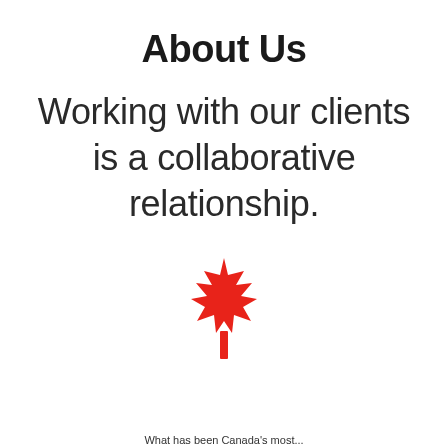About Us
Working with our clients is a collaborative relationship.
[Figure (illustration): Red Canadian maple leaf icon centered on the page]
What has been Canada's most...